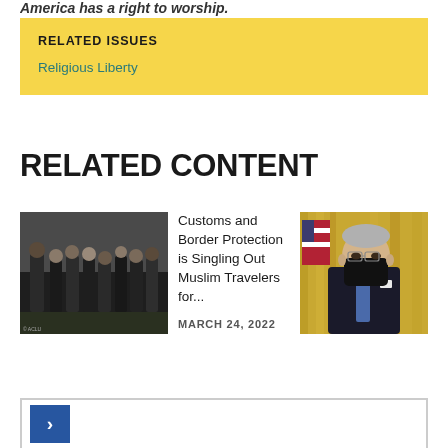America has a right to worship.
RELATED ISSUES
Religious Liberty
RELATED CONTENT
[Figure (photo): Group of people standing in prayer, indoors]
Customs and Border Protection is Singling Out Muslim Travelers for...
MARCH 24, 2022
[Figure (photo): Person in a suit wearing a black face mask, seated in an official-looking room with an American flag]
Navigation arrow button